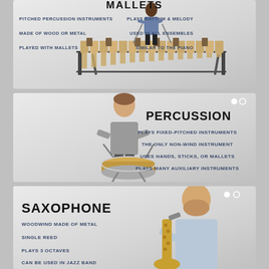[Figure (infographic): Mallets panel: A person playing a marimba. Text describes mallets as pitched percussion instruments made of wood or metal, played with mallets. Plays rhythm & melody, used in all ensembles, similar to the piano.]
[Figure (infographic): Percussion panel: A person playing a snare drum with sticks. Text describes percussion as playing fixed-pitched instruments, the only non-wind instrument, uses hands sticks or mallets, plays many auxiliary instruments.]
[Figure (infographic): Saxophone panel: A person playing a saxophone. Text describes saxophone as a woodwind made of metal, single reed, plays 3 octaves, can be used in jazz band.]